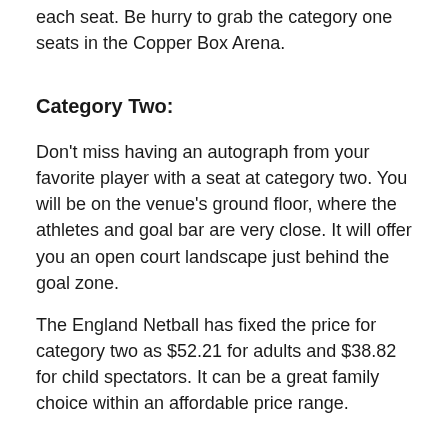each seat. Be hurry to grab the category one seats in the Copper Box Arena.
Category Two:
Don't miss having an autograph from your favorite player with a seat at category two. You will be on the venue's ground floor, where the athletes and goal bar are very close. It will offer you an open court landscape just behind the goal zone.
The England Netball has fixed the price for category two as $52.21 for adults and $38.82 for child spectators. It can be a great family choice within an affordable price range.